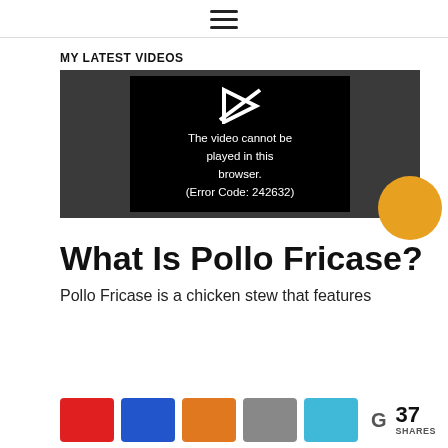☰ (hamburger menu icon)
MY LATEST VIDEOS
[Figure (screenshot): Video player showing error message: 'The video cannot be played in this browser. (Error Code: 242632)' with a play icon crossed out, on a black background inside a dark gray player frame. A gold circle is partially visible at the bottom right.]
What Is Pollo Fricase?
Pollo Fricase is a chicken stew that features
[Figure (infographic): Social share bar with colored buttons (red, blue, orange, gray, cyan), a G letter icon, and '37 SHARES' count.]